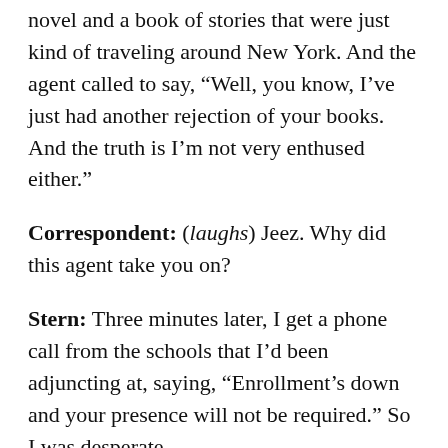novel and a book of stories that were just kind of traveling around New York. And the agent called to say, “Well, you know, I’ve just had another rejection of your books. And the truth is I’m not very enthused either.”
Correspondent: (laughs) Jeez. Why did this agent take you on?
Stern: Three minutes later, I get a phone call from the schools that I’d been adjuncting at, saying, “Enrollment’s down and your presence will not be required.” So I was desperate.
Correspondent: So all doors shut on you at the same time.
Stern: Yeah. And to be honest, I think in redacting my life, you look for a way to find elements or events